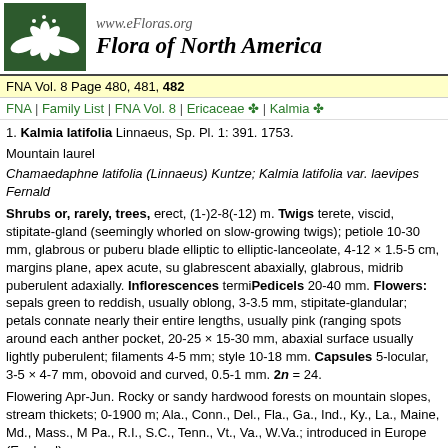www.eFloras.org | Flora of North America
FNA Vol. 8 Page 480, 481, 482
FNA | Family List | FNA Vol. 8 | Ericaceae | Kalmia
1. Kalmia latifolia Linnaeus, Sp. Pl. 1: 391. 1753.
Mountain laurel
Chamaedaphne latifolia (Linnaeus) Kuntze; Kalmia latifolia var. laevipes Fernald
Shrubs or, rarely, trees, erect, (1-)2-8(-12) m. Twigs terete, viscid, stipitate-gland... Capsules 5-locular, 3-5 × 4-7 mm, obovoid and curved, 0.5-1 mm. 2n = 24.
Flowering Apr-Jun. Rocky or sandy hardwood forests on mountain slopes, stream thickets; 0-1900 m; Ala., Conn., Del., Fla., Ga., Ind., Ky., La., Maine, Md., Mass., M Pa., R.I., S.C., Tenn., Vt., Va., W.Va.; introduced in Europe (England).
Kalmia latifolia is a showy and beautiful American indigenous plant. E. S. Rand (1... describe the beauty of this plant on the mountains of the Middle States, where it co... hillsides with pink and white."
SELECTED REFERENCE Kress, A. 1988. Beobachtungen an Blüten von Kalmia l... 65: 249-284.